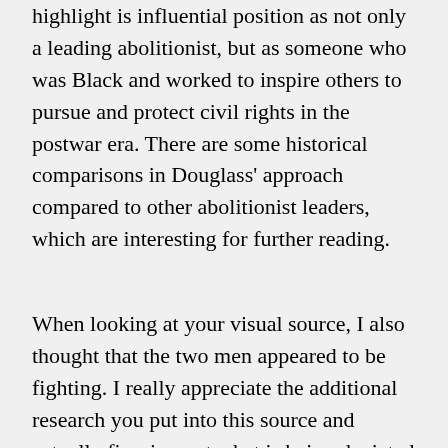highlight is influential position as not only a leading abolitionist, but as someone who was Black and worked to inspire others to pursue and protect civil rights in the postwar era. There are some historical comparisons in Douglass' approach compared to other abolitionist leaders, which are interesting for further reading.
When looking at your visual source, I also thought that the two men appeared to be fighting. I really appreciate the additional research you put into this source and actually figuring out what is being depicted in this scene. It makes so much more sense with that additional